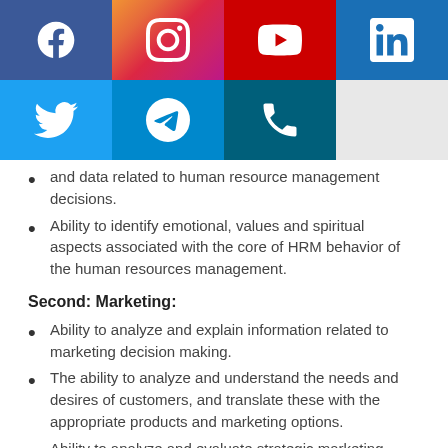[Figure (infographic): Social media icons banner with two rows: Row 1 - Facebook (blue), Instagram (gradient), YouTube (red), LinkedIn (blue). Row 2 - Twitter (light blue), Telegram (blue), Phone (dark teal), blank (light gray).]
and data related to human resource management decisions.
Ability to identify emotional, values and spiritual aspects associated with the core of HRM behavior of the human resources management.
Second: Marketing:
Ability to analyze and explain information related to marketing decision making.
The ability to analyze and understand the needs and desires of customers, and translate these with the appropriate products and marketing options.
Ability to analyze and evaluate strategic marketing alternatives.